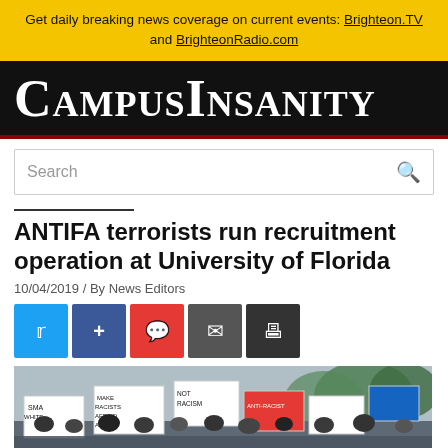Get daily breaking news coverage on current events: Brighteon.TV and BrighteonRadio.com
[Figure (logo): CampusInsanity logo in white serif small-caps text on black background]
Search
ANTIFA terrorists run recruitment operation at University of Florida
10/04/2019 / By News Editors
[Figure (photo): Crowd of protesters holding signs including 'NOT RACISM', 'MAKE RACISTS AFRAID AGAIN' and other protest signs]